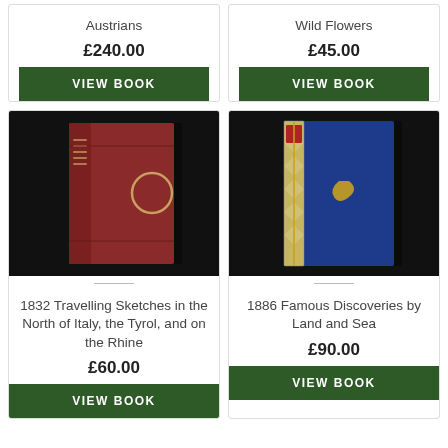Austrians
£240.00
VIEW BOOK
Wild Flowers
£45.00
VIEW BOOK
[Figure (photo): Red leather-bound book standing upright against black background, spine visible with gold circular decoration]
1832 Travelling Sketches in the North of Italy, the Tyrol, and on the Rhine
£60.00
[Figure (photo): Blue and ornate spine book standing upright against black background with gold decorative clasp]
1886 Famous Discoveries by Land and Sea
£90.00